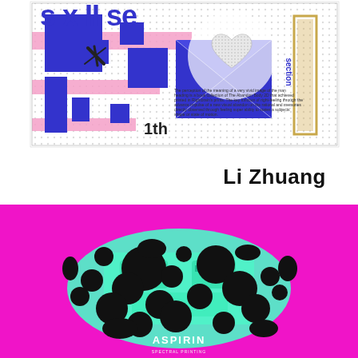[Figure (illustration): Abstract graphic design artwork with blue geometric shapes, pink horizontal bars, a halftone heart shape, diagonal gold/tan border element, bold partial text 's__x II se__' in blue at top, '1th' numeral, and small body text about visual perception. Section label rotated on right side. White dotted background.]
Li Zhuang
[Figure (illustration): Bold pop-art style print on magenta/hot pink background. Central image shows a mint/turquoise mechanical or robotic figure overlaid with large black ink splatter blobs. Text 'ASPIRIN' visible at the bottom center area of the image. High contrast two-color screenprint aesthetic.]